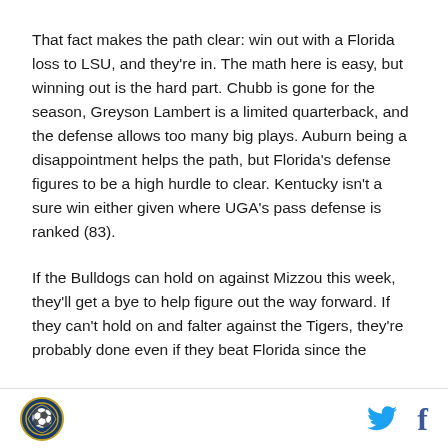That fact makes the path clear: win out with a Florida loss to LSU, and they're in. The math here is easy, but winning out is the hard part. Chubb is gone for the season, Greyson Lambert is a limited quarterback, and the defense allows too many big plays. Auburn being a disappointment helps the path, but Florida's defense figures to be a high hurdle to clear. Kentucky isn't a sure win either given where UGA's pass defense is ranked (83).
If the Bulldogs can hold on against Mizzou this week, they'll get a bye to help figure out the way forward. If they can't hold on and falter against the Tigers, they're probably done even if they beat Florida since the
[logo] [twitter] [facebook]